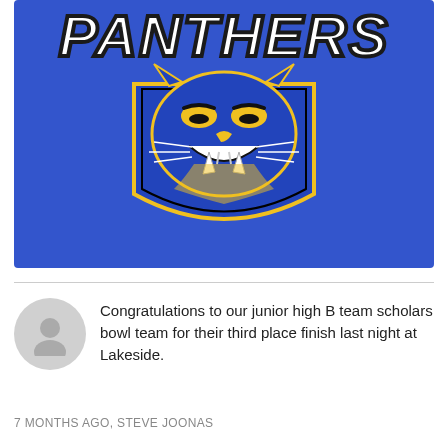[Figure (logo): Blue Panthers sports team logo with roaring panther face and text PANTHERS, blue background with yellow and white accents]
Congratulations to our junior high B team scholars bowl team for their third place finish last night at Lakeside.
7 MONTHS AGO, STEVE JOONAS